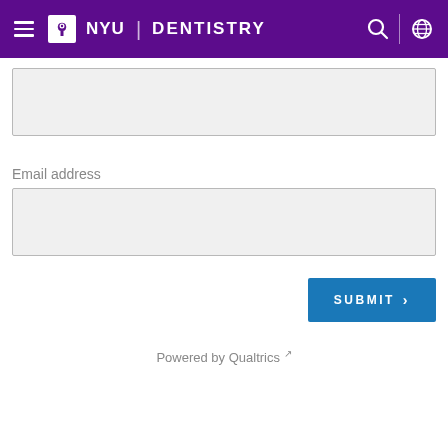[Figure (logo): NYU Dentistry website header with purple background, hamburger menu, NYU Dentistry logo, search icon, and globe icon]
[Figure (screenshot): Empty text input field with light grey background and border]
Email address
[Figure (screenshot): Empty email address input field with light grey background and border]
[Figure (screenshot): SUBMIT > button in blue]
Powered by Qualtrics ↗